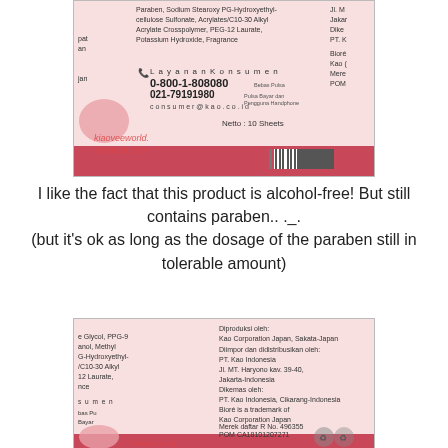[Figure (photo): Photo of product label showing ingredients including Paraben, Sodium Stearoxy PG-Hydroxyethyl-cellulose Sulfonate, Acrylates/C10-30 Alkyl Acrylate Crosspolymer, PEG-12 Laurate, Potassium Hydroxide, Fragrance. Layanan Konsumen 0-800-1-808080, 021-79191980, consumer@kao.co.id. Netto: 10 Sheets. Watermark: kiaoveeworld.blogspot.com]
I like the fact that this product is alcohol-free! But still contains paraben.. ._.
(but it's ok as long as the dosage of the paraben still in tolerable amount)
[Figure (photo): Photo of product label showing ingredients: e Glycol, PPG-9, anol, Methyl, G-Hydroxyethyl-, /C10-30 Alkyl, 12 Laurate, nce. Right side: Diproduksi oleh: Kao Corporation Japan, Sakata-Japan. Diimpor dan didistribusikan oleh: PT. Kao Indonesia, Jl. MT. Haryono kav. 39-40, Jakarta-Indonesia. Dikemas oleh: PT. Kao Indonesia, Cikarang-Indonesia. Bioré is a trademark of Kao Corporation Japan. Merek daftar R No. 496355. POM CA18101207271. Watermark: kiaoveeworld]